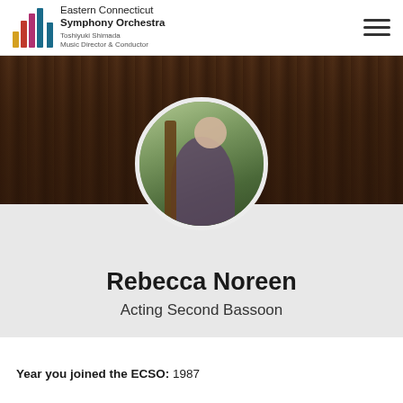Eastern Connecticut Symphony Orchestra | Toshiyuki Shimada, Music Director & Conductor
[Figure (photo): Orchestra banner photo showing a large choir/orchestra ensemble on stage, dark concert hall setting]
[Figure (photo): Circular profile photo of Rebecca Noreen holding a bassoon outdoors in a green park setting, wearing a purple turtleneck]
Rebecca Noreen
Acting Second Bassoon
Year you joined the ECSO: 1987